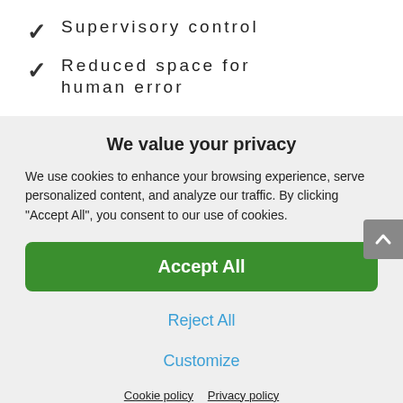Supervisory control
Reduced space for human error
We value your privacy
We use cookies to enhance your browsing experience, serve personalized content, and analyze our traffic. By clicking "Accept All", you consent to our use of cookies.
Accept All
Reject All
Customize
Cookie policy   Privacy policy